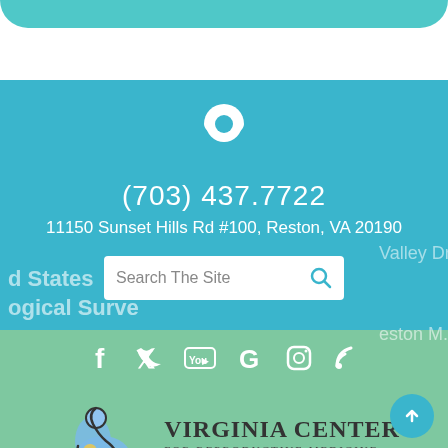[Figure (screenshot): Top teal rounded bar at very top of page]
[Figure (screenshot): Blue/teal section with map pin icon, phone number, address, and search bar with map background]
(703) 437.7722
11150 Sunset Hills Rd #100, Reston, VA 20190
Search The Site
[Figure (screenshot): Green section with social media icons (Facebook, Twitter, YouTube, Google, Instagram, RSS) and Virginia Center For Reproductive Medicine logo with scroll-up button]